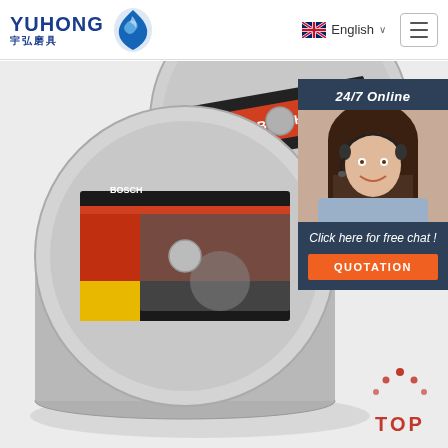[Figure (logo): YUHONG 宇弘磨具 logo with blue wave/droplet icon]
English ∨
[Figure (photo): Stack of Bosch abrasive cutting discs in a tin container, product photo on light background]
[Figure (photo): 24/7 Online chat widget showing a woman with headset and a QUOTATION button]
[Figure (illustration): TOP scroll-to-top button with orange dot-arch icon above red TOP text]